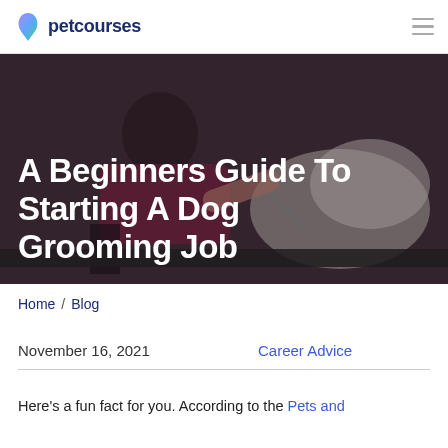petcourses
[Figure (photo): A person in a red/maroon shirt grooming a white dog on a grooming table, viewed from the side. The background is dark and muted.]
A Beginners Guide To Starting A Dog Grooming Job
Home / Blog
November 16, 2021    Career Advice
Here's a fun fact for you. According to the Pets and